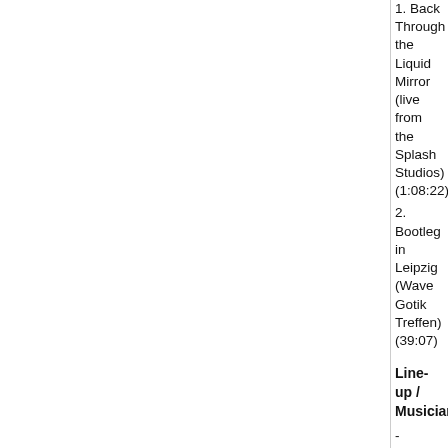1. Back Through the Liquid Mirror (live from the Splash Studios) (1:08:22)
2. Bootleg in Leipzig (Wave Gotik Treffen) (39:07)
Line-up / Musicians
- Riccardo Prencipe / electric, Classical & acoustic guitars, composer